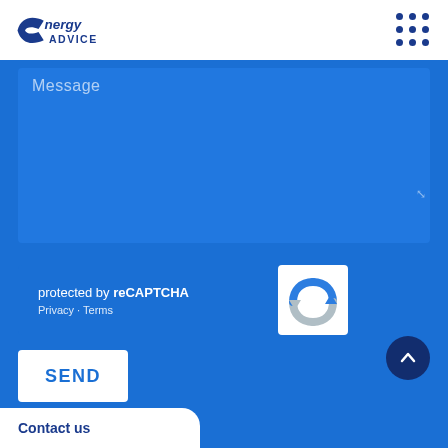nergy ADVICE logo with navigation dots
[Figure (screenshot): Blue contact form page showing a Message textarea, reCAPTCHA widget with Privacy and Terms links, a SEND button, a scroll-to-top arrow button, and a Contact us footer tab]
Message
protected by reCAPTCHA
Privacy · Terms
SEND
Contact us